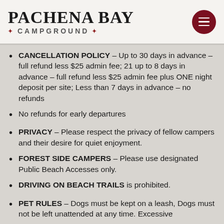PACHENA BAY CAMPGROUND
CANCELLATION POLICY – Up to 30 days in advance – full refund less $25 admin fee; 21 up to 8 days in advance – full refund less $25 admin fee plus ONE night deposit per site; Less than 7 days in advance – no refunds
No refunds for early departures
PRIVACY – Please respect the privacy of fellow campers and their desire for quiet enjoyment.
FOREST SIDE CAMPERS – Please use designated Public Beach Accesses only.
DRIVING ON BEACH TRAILS is prohibited.
PET RULES – Dogs must be kept on a leash, Dogs must not be left unattended at any time. Excessive